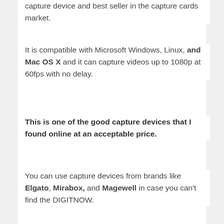capture device and best seller in the capture cards market.
It is compatible with Microsoft Windows, Linux, and Mac OS X and it can capture videos up to 1080p at 60fps with no delay.
This is one of the good capture devices that I found online at an acceptable price.
You can use capture devices from brands like Elgato, Mirabox, and Magewell in case you can't find the DIGITNOW.
[Figure (infographic): Social share bar with Twitter, Pinterest (13 shares), and Facebook (18 shares) buttons, plus a total share count of 31 SHARES]